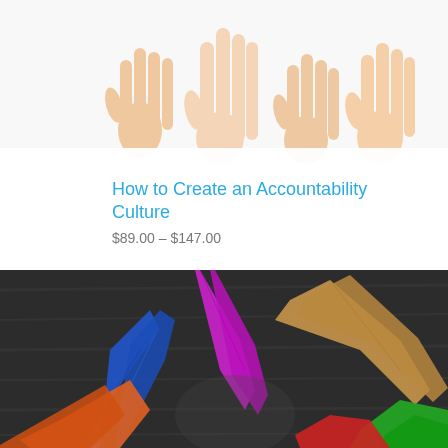[Figure (photo): Multiple raised hands against a white background, showing open palms facing forward]
How to Create an Accountability Culture
$89.00 – $147.00
Related products
[Figure (photo): Colorful paper cutout hands of different colors (blue, purple, orange, tan, green, red) reaching together toward center on a dark wooden surface]